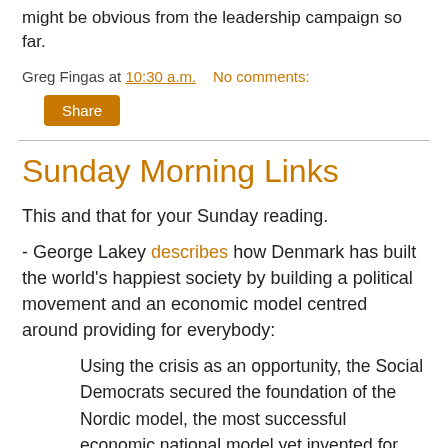might be obvious from the leadership campaign so far.
Greg Fingas at 10:30 a.m.   No comments:
Share
Sunday Morning Links
This and that for your Sunday reading.
- George Lakey describes how Denmark has built the world's happiest society by building a political movement and an economic model centred around providing for everybody:
Using the crisis as an opportunity, the Social Democrats secured the foundation of the Nordic model, the most successful economic national model yet invented for the common good. The Danish majority loved it, and the unions and family farmers retained political control of the country for the rest of the century. The model